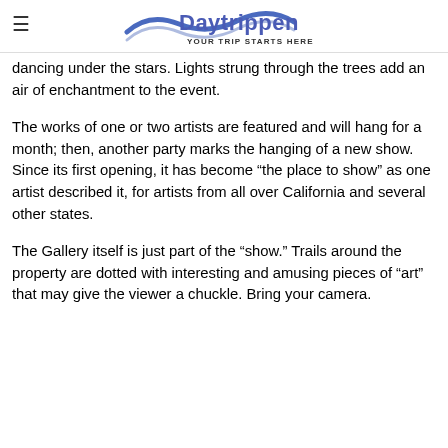Daytrippen — YOUR TRIP STARTS HERE
dancing under the stars. Lights strung through the trees add an air of enchantment to the event.
The works of one or two artists are featured and will hang for a month; then, another party marks the hanging of a new show. Since its first opening, it has become “the place to show” as one artist described it, for artists from all over California and several other states.
The Gallery itself is just part of the “show.” Trails around the property are dotted with interesting and amusing pieces of “art” that may give the viewer a chuckle. Bring your camera.